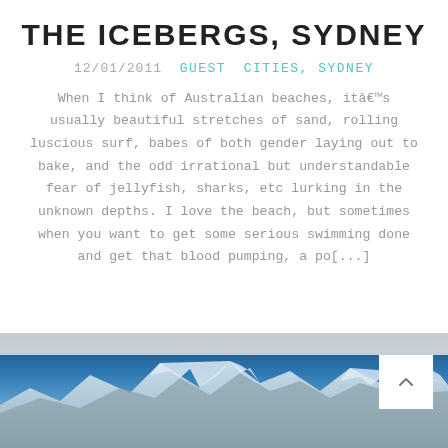THE ICEBERGS, SYDNEY
12/01/2011   GUEST   CITIES, SYDNEY
When I think of Australian beaches, itâs usually beautiful stretches of sand, rolling luscious surf, babes of both gender laying out to bake, and the odd irrational but understandable fear of jellyfish, sharks, etc lurking in the unknown depths. I love the beach, but sometimes when you want to get some serious swimming done and get that blood pumping, a po[...]
[Figure (photo): Snow-capped mountain range under a blue sky, used as background image at the bottom of the page]